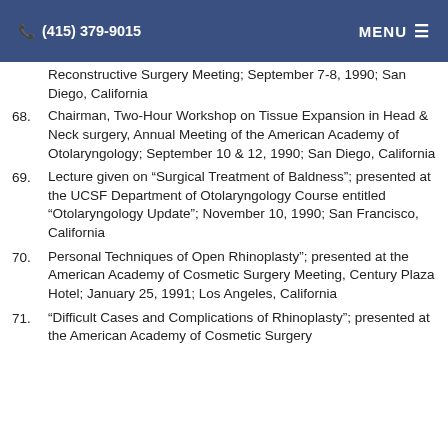(415) 379-9015  MENU
Reconstructive Surgery Meeting; September 7-8, 1990; San Diego, California
68. Chairman, Two-Hour Workshop on Tissue Expansion in Head & Neck surgery, Annual Meeting of the American Academy of Otolaryngology; September 10 & 12, 1990; San Diego, California
69. Lecture given on “Surgical Treatment of Baldness”; presented at the UCSF Department of Otolaryngology Course entitled “Otolaryngology Update”; November 10, 1990; San Francisco, California
70. Personal Techniques of Open Rhinoplasty”; presented at the American Academy of Cosmetic Surgery Meeting, Century Plaza Hotel; January 25, 1991; Los Angeles, California
71. “Difficult Cases and Complications of Rhinoplasty”; presented at the American Academy of Cosmetic Surgery